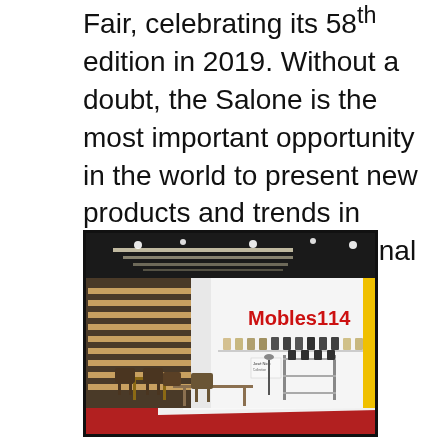Fair, celebrating its 58th edition in 2019. Without a doubt, the Salone is the most important opportunity in the world to present new products and trends in furniture at an international level.
[Figure (photo): Interior photo of a Mobles114 exhibition stand at a furniture fair, showing chairs displayed on wall-mounted shelving units against a large white backdrop with the red 'Mobles114' logo. The floor features a red carpet with a white display area, and various chairs and tables are arranged in the foreground. The ceiling has a dark industrial look with strip lighting.]